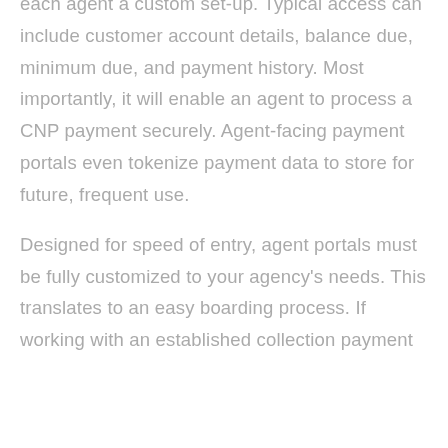each agent a custom set-up. Typical access can include customer account details, balance due, minimum due, and payment history. Most importantly, it will enable an agent to process a CNP payment securely. Agent-facing payment portals even tokenize payment data to store for future, frequent use.
Designed for speed of entry, agent portals must be fully customized to your agency's needs. This translates to an easy boarding process. If working with an established collection payment